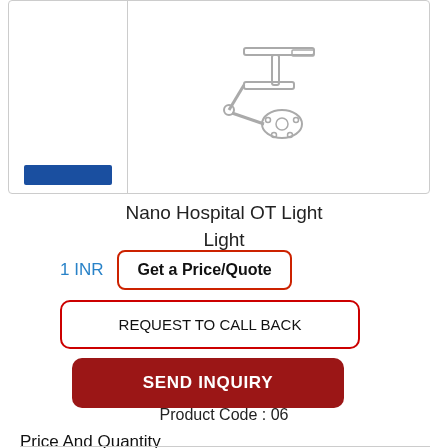[Figure (photo): Nano Hospital OT Light product image showing a ceiling-mounted surgical light arm on a white background]
Nano Hospital OT Light
1 INR
Get a Price/Quote
REQUEST TO CALL BACK
SEND INQUIRY
Product Code : 06
Price And Quantity